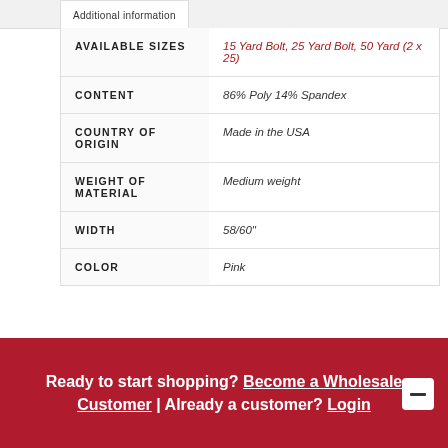Additional information
| Attribute | Value |
| --- | --- |
| AVAILABLE SIZES | 15 Yard Bolt, 25 Yard Bolt, 50 Yard (2 x 25) |
| CONTENT | 86% Poly 14% Spandex |
| COUNTRY OF ORIGIN | Made in the USA |
| WEIGHT OF MATERIAL | Medium weight |
| WIDTH | 58/60" |
| COLOR | Pink |
Ready to start shopping? Become a Wholesale Customer | Already a customer? Login